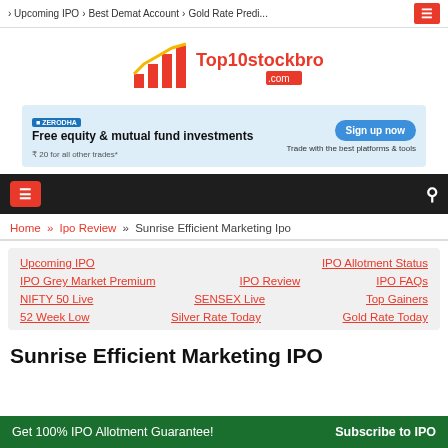Upcoming IPO › Best Demat Account › Gold Rate Predi...
[Figure (logo): Top10stockbroker.com logo with bar chart icon]
[Figure (infographic): Zerodha advertisement banner: Free equity & mutual fund investments, Sign up now, Trade with the best platforms & tools]
Navigation bar with hamburger menu and search icon
Home » Ipo Review » Sunrise Efficient Marketing Ipo
Upcoming IPO
IPO Allotment Status
IPO Grey Market Premium
IPO Review
IPO FAQs
NIFTY 50 Live
SENSEX Live
Top Gainers
52 Week Low
Silver Rate Today
Gold Rate Today
Sunrise Efficient Marketing IPO
Get 100% IPO Allotment Guarantee!   Subscribe to IPO